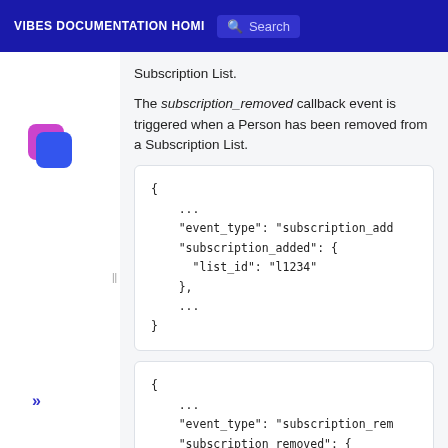VIBES DOCUMENTATION HOME  Search
Subscription List.
The subscription_removed callback event is triggered when a Person has been removed from a Subscription List.
{
    ...
    "event_type": "subscription_add
    "subscription_added": {
      "list_id": "l1234"
    },
    ...
}
{
    ...
    "event_type": "subscription_rem
    "subscription_removed": {
      "list_id": "l1234"
    }